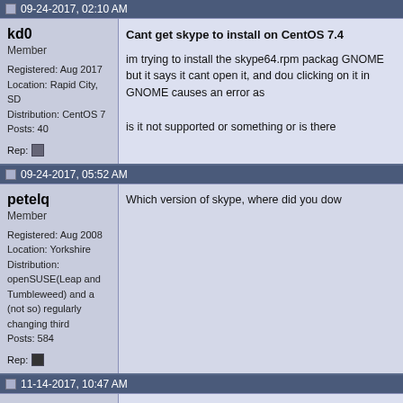09-24-2017, 02:10 AM
kd0
Member
Registered: Aug 2017
Location: Rapid City, SD
Distribution: CentOS 7
Posts: 40
Rep:
Cant get skype to install on CentOS 7.4
im trying to install the skype64.rpm package in GNOME but it says it cant open it, and double clicking on it in GNOME causes an error as
is it not supported or something or is there
09-24-2017, 05:52 AM
petelq
Member
Registered: Aug 2008
Location: Yorkshire
Distribution: openSUSE(Leap and Tumbleweed) and a (not so) regularly changing third
Posts: 584
Rep:
Which version of skype, where did you dow
11-14-2017, 10:47 AM
desertcat
Member
Registered: Apr 2014
Location: Tucson, AZ
Distribution: LNK: (NEW
Quote:
Originally Posted by kd0
im trying to install the skype64.rpm pa and double clicking on it in GNOME ca